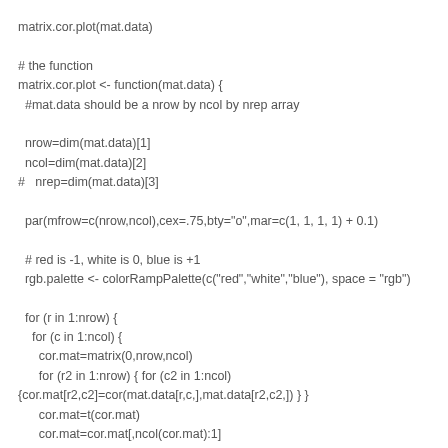matrix.cor.plot(mat.data)
# the function
matrix.cor.plot <- function(mat.data) {
  #mat.data should be a nrow by ncol by nrep array

  nrow=dim(mat.data)[1]
  ncol=dim(mat.data)[2]
#   nrep=dim(mat.data)[3]

  par(mfrow=c(nrow,ncol),cex=.75,bty="o",mar=c(1, 1, 1, 1) + 0.1)

  # red is -1, white is 0, blue is +1
  rgb.palette <- colorRampPalette(c("red","white","blue"), space = "rgb")

  for (r in 1:nrow) {
    for (c in 1:ncol) {
      cor.mat=matrix(0,nrow,ncol)
      for (r2 in 1:nrow) { for (c2 in 1:ncol)
{cor.mat[r2,c2]=cor(mat.data[r,c,],mat.data[r2,c2,]) } }
      cor.mat=t(cor.mat)
      cor.mat=cor.mat[,ncol(cor.mat):1]
      image(cor.mat,zlim=c(-1,1),col=rgb.palette(120),axes =